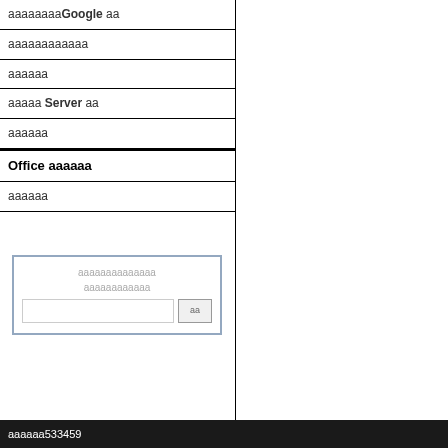ааааааааGoogle аа
аааааааааааа
аааааа
ааааа Server аа
аааааа
Office аааааа
аааааа
[Figure (screenshot): Search widget box with two lines of gray placeholder text and a text input field with a button showing 'аа']
аааааа533459